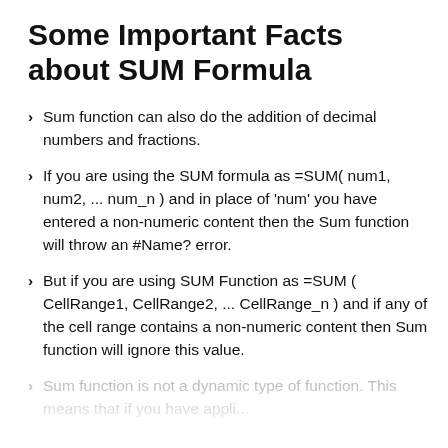Some Important Facts about SUM Formula
Sum function can also do the addition of decimal numbers and fractions.
If you are using the SUM formula as =SUM( num1, num2, ... num_n ) and in place of 'num' you have entered a non-numeric content then the Sum function will throw an #Name? error.
But if you are using SUM Function as =SUM ( CellRange1, CellRange2, ... CellRange_n ) and if any of the cell range contains a non-numeric content then Sum function will ignore this value.
Sum function is not a dynamic type of function. This means that if you have applied...